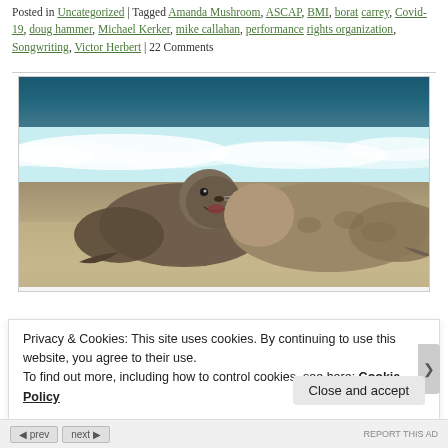Posted in Uncategorized | Tagged Amanda Mushroom, ASCAP, BMI, borat carrey, Covid-19, doug hammer, Michael Kerker, mike callahan, performance rights organization, Songwriting, Victor Herbert | 22 Comments
[Figure (photo): Two seals on a sandy beach with ocean waves in the background. One seal appears to be biting or nuzzling the other. The ocean has white foam waves visible.]
Privacy & Cookies: This site uses cookies. By continuing to use this website, you agree to their use.
To find out more, including how to control cookies, see here: Cookie Policy
Close and accept